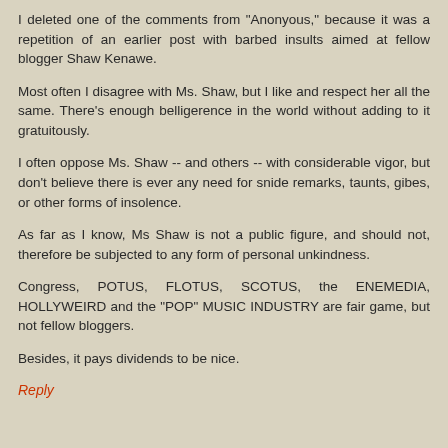I deleted one of the comments from "Anonyous," because it was a repetition of an earlier post with barbed insults aimed at fellow blogger Shaw Kenawe.
Most often I disagree with Ms. Shaw, but I like and respect her all the same. There's enough belligerence in the world without adding to it gratuitously.
I often oppose Ms. Shaw -- and others -- with considerable vigor, but don't believe there is ever any need for snide remarks, taunts, gibes, or other forms of insolence.
As far as I know, Ms Shaw is not a public figure, and should not, therefore be subjected to any form of personal unkindness.
Congress, POTUS, FLOTUS, SCOTUS, the ENEMEDIA, HOLLYWEIRD and the "POP" MUSIC INDUSTRY are fair game, but not fellow bloggers.
Besides, it pays dividends to be nice.
Reply